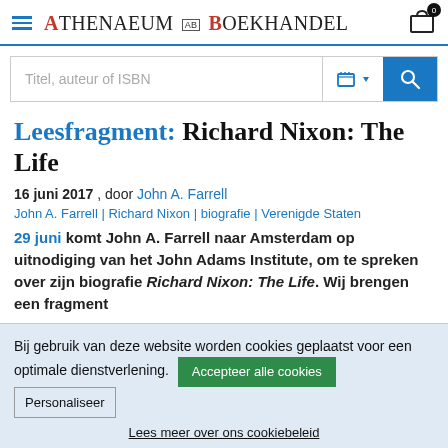ATHENAEUM [AB] BOEKHANDEL
[Figure (screenshot): Search bar with placeholder 'Titel, auteur of ISBN', cart icon, and blue search button]
Leesfragment: Richard Nixon: The Life
16 juni 2017 , door John A. Farrell
John A. Farrell | Richard Nixon | biografie | Verenigde Staten
29 juni komt John A. Farrell naar Amsterdam op uitnodiging van het John Adams Institute, om te spreken over zijn biografie Richard Nixon: The Life. Wij brengen een fragment
Bij gebruik van deze website worden cookies geplaatst voor een optimale dienstverlening. Accepteer alle cookies  Personaliseer
Lees meer over ons cookiebeleid